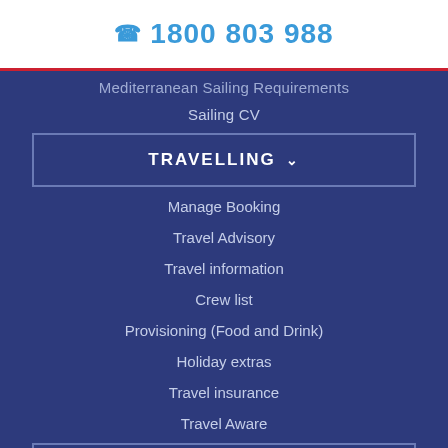1800 803 988
Mediterranean Sailing Requirements
Sailing CV
TRAVELLING
Manage Booking
Travel Advisory
Travel information
Crew list
Provisioning (Food and Drink)
Holiday extras
Travel insurance
Travel Aware
ABOUT